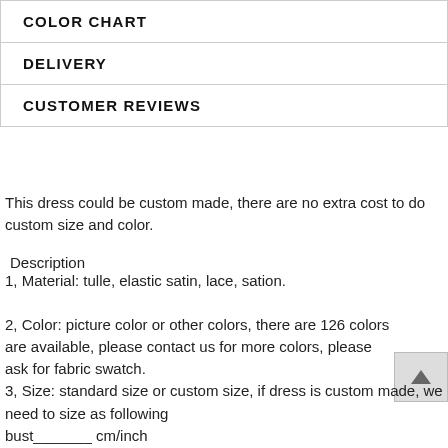| COLOR CHART |
| DELIVERY |
| CUSTOMER REVIEWS |
This dress could be custom made, there are no extra cost to do custom size and color.
Description
1, Material: tulle, elastic satin, lace, sation.
2, Color: picture color or other colors, there are 126 colors are available, please contact us for more colors, please ask for fabric swatch.
3, Size: standard size or custom size, if dress is custom made, we need to size as following
bust_______ cm/inch
waist_______cm/inch
hip:________cm/inch